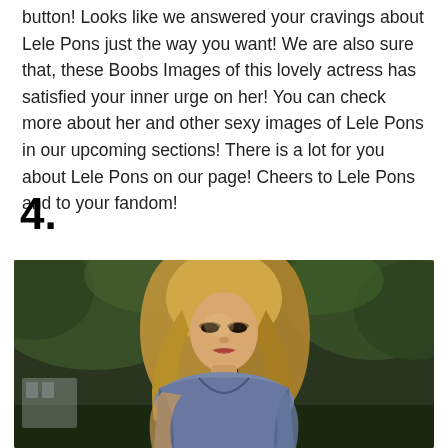button! Looks like we answered your cravings about Lele Pons just the way you want! We are also sure that, these Boobs Images of this lovely actress has satisfied your inner urge on her! You can check more about her and other sexy images of Lele Pons in our upcoming sections! There is a lot for you about Lele Pons on our page! Cheers to Lele Pons and to your fandom!
4.
[Figure (photo): A young blonde woman with long wavy hair, wearing a low-cut blue/grey dress or top, standing outdoors with blurred green foliage and a structure in the background.]